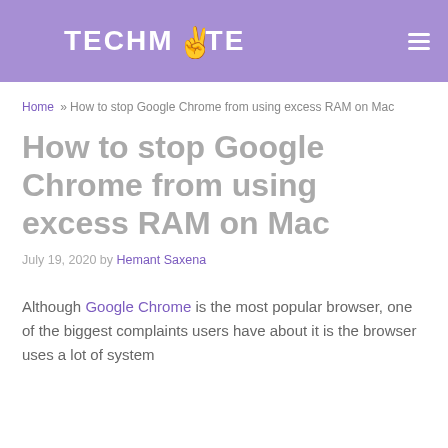TECHMOTE
Home » How to stop Google Chrome from using excess RAM on Mac
How to stop Google Chrome from using excess RAM on Mac
July 19, 2020 by Hemant Saxena
Although Google Chrome is the most popular browser, one of the biggest complaints users have about it is the browser uses a lot of system